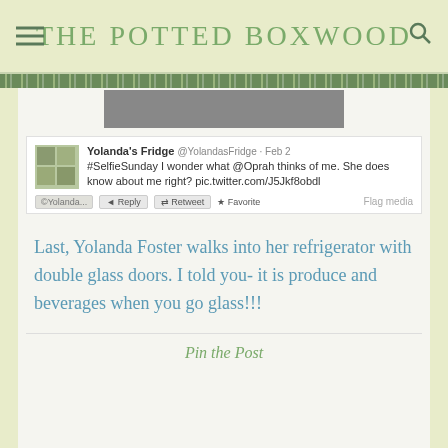THE POTTED BOXWOOD
[Figure (screenshot): Screenshot of a tweet from Yolanda's Fridge (@YolandasFridge) dated Feb 2: '#SelfieSunday I wonder what @Oprah thinks of me. She does know about me right? pic.twitter.com/J5Jkf8obdl' with Reply, Retweet, Favorite actions and Flag media link.]
Last, Yolanda Foster walks into her refrigerator with double glass doors. I told you- it is produce and beverages when you go glass!!!
Pin the Post
[Figure (photo): Partial image at the bottom of the page, cropped.]